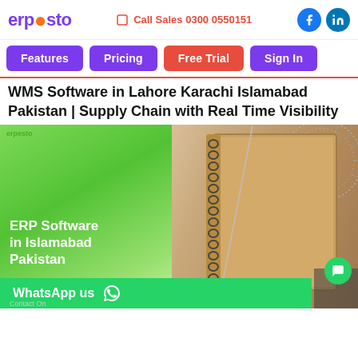ERPESTO | Call Sales 0300 0550151
WMS Software in Lahore Karachi Islamabad Pakistan | Supply Chain with Real Time Visibility
[Figure (screenshot): ERP Software in Islamabad Pakistan promotional banner with green gradient left panel showing white bold text 'ERP Software in Islamabad Pakistan' and right side showing a spiral notebook on a warm tan background with a protractor/ruler. Includes a WhatsApp bar at the bottom reading 'WhatsApp us' with WhatsApp icon.]